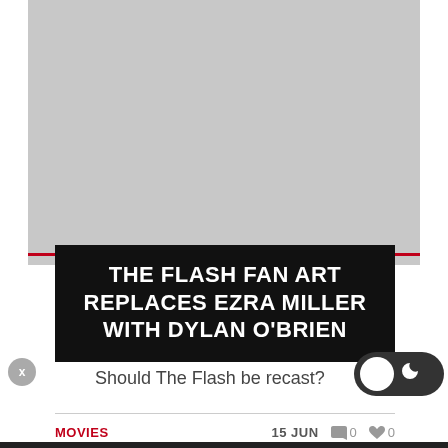[Figure (photo): Gray placeholder image area for The Flash fan art article]
THE FLASH FAN ART REPLACES EZRA MILLER WITH DYLAN O'BRIEN
Should The Flash be recast?
MOVIES
15 JUN  0  0